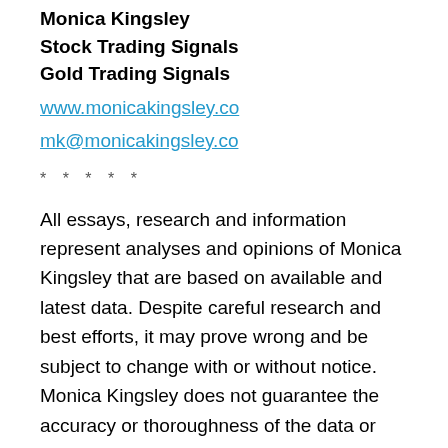Monica Kingsley
Stock Trading Signals
Gold Trading Signals
www.monicakingsley.co
mk@monicakingsley.co
* * * * *
All essays, research and information represent analyses and opinions of Monica Kingsley that are based on available and latest data. Despite careful research and best efforts, it may prove wrong and be subject to change with or without notice. Monica Kingsley does not guarantee the accuracy or thoroughness of the data or information reported. Her content serves educational purposes and should not be